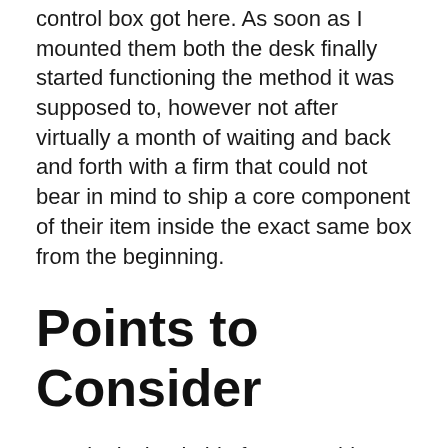control box got here. As soon as I mounted them both the desk finally started functioning the method it was supposed to, however not after virtually a month of waiting and back and forth with a firm that could not bear in mind to ship a core component of their item inside the exact same box from the beginning.
Points to Consider
Despite its bankable features, this stand desk likewise has its very own disadvantages. Since no single stand desk could capture every one of the features that you may need, you might think about these in your decision-making.